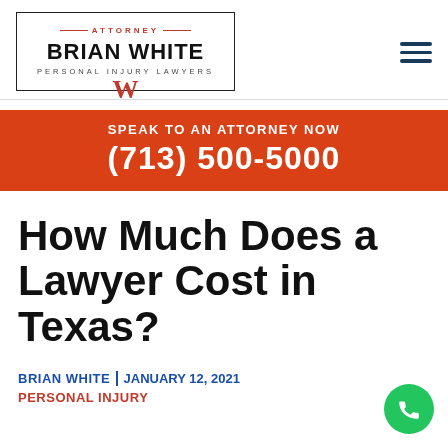[Figure (logo): Attorney Brian White Personal Injury Lawyers logo with red W emblem in a rectangular border]
SPEAK TO AN ATTORNEY NOW
(713) 500-5000
How Much Does a Lawyer Cost in Texas?
BRIAN WHITE | JANUARY 12, 2021
PERSONAL INJURY